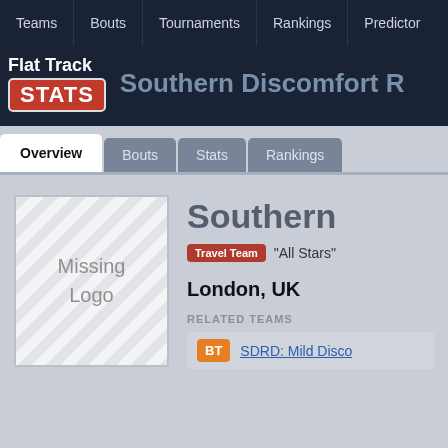Teams | Bouts | Tournaments | Rankings | Predictor
Flat Track STATS — Southern Discomfort R
Overview | Bouts | Stats | Rankings
[Figure (illustration): Missing Logo placeholder box with diagonal stripe pattern]
Southern
Travel Team  "All Stars"
London, UK
RELATED TEAMS
BT  SDRD: Mild Disco